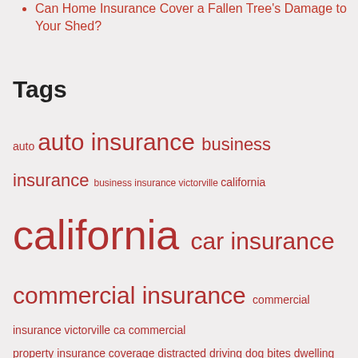Can Home Insurance Cover a Fallen Tree's Damage to Your Shed?
Tags
auto auto insurance business insurance business insurance victorville california california car insurance commercial insurance commercial insurance victorville ca commercial property insurance coverage distracted driving dog bites dwelling coverage fire general liability insurance home home insurance home insurance st george homeowners homeowners insurance homeowners insurance st george insurance key city insurance kitchen fires liability professional liability insurance rental application renters insurance safety safety tips salt lake city st george st george car insurance st george home insurance st george homeowners insurance traffic safety utah